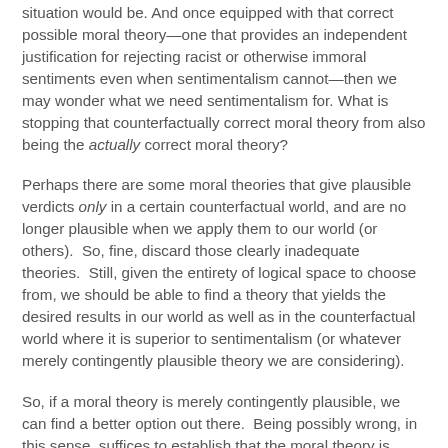situation would be. And once equipped with that correct possible moral theory—one that provides an independent justification for rejecting racist or otherwise immoral sentiments even when sentimentalism cannot—then we may wonder what we need sentimentalism for. What is stopping that counterfactually correct moral theory from also being the actually correct moral theory?
Perhaps there are some moral theories that give plausible verdicts only in a certain counterfactual world, and are no longer plausible when we apply them to our world (or others). So, fine, discard those clearly inadequate theories. Still, given the entirety of logical space to choose from, we should be able to find a theory that yields the desired results in our world as well as in the counterfactual world where it is superior to sentimentalism (or whatever merely contingently plausible theory we are considering).
So, if a moral theory is merely contingently plausible, we can find a better option out there. Being possibly wrong, in this sense, suffices to establish that the moral theory is actually wrong.